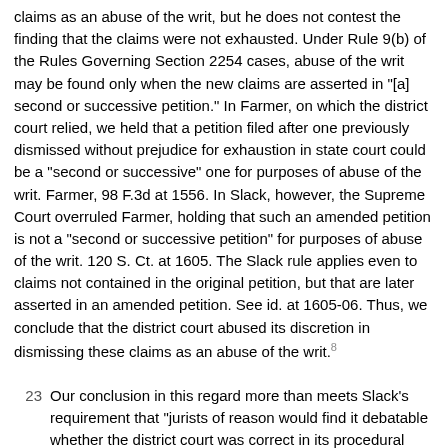claims as an abuse of the writ, but he does not contest the finding that the claims were not exhausted. Under Rule 9(b) of the Rules Governing Section 2254 cases, abuse of the writ may be found only when the new claims are asserted in "[a] second or successive petition." In Farmer, on which the district court relied, we held that a petition filed after one previously dismissed without prejudice for exhaustion in state court could be a "second or successive" one for purposes of abuse of the writ. Farmer, 98 F.3d at 1556. In Slack, however, the Supreme Court overruled Farmer, holding that such an amended petition is not a "second or successive petition" for purposes of abuse of the writ. 120 S. Ct. at 1605. The Slack rule applies even to claims not contained in the original petition, but that are later asserted in an amended petition. See id. at 1605-06. Thus, we conclude that the district court abused its discretion in dismissing these claims as an abuse of the writ.[8]
23 Our conclusion in this regard more than meets Slack's requirement that "jurists of reason would find it debatable whether the district court was correct in its procedural ruling." Slack, 120 S. Ct. at 1600-01. We therefore proceed to the second part of the COA analysis under Slack, namely, whether "jurists of reason would find it debatable whether the petition states a valid claim of the denial of a